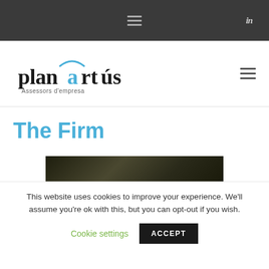Navigation bar with hamburger menu and LinkedIn icon
[Figure (logo): Planartús Assessors d'empresa logo — stylized text with blue arc above 'a', tagline below]
The Firm
[Figure (photo): Partially visible dark/olive-toned image at the bottom of the page]
This website uses cookies to improve your experience. We'll assume you're ok with this, but you can opt-out if you wish.
Cookie settings   ACCEPT